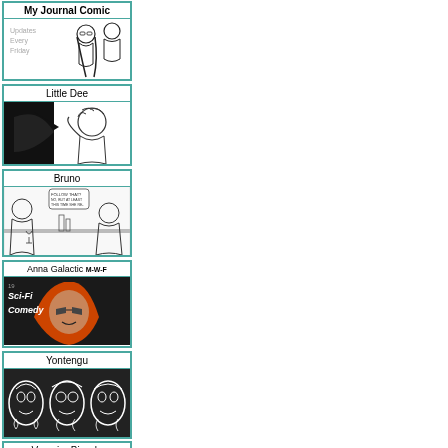[Figure (illustration): Comic banner for 'My Journal Comic' with text 'Updates Every Friday' and illustrated characters]
[Figure (illustration): Comic banner for 'Little Dee' showing black and white comic panel with bird and child character]
[Figure (illustration): Comic banner for 'Bruno' showing black and white comic strip panel with characters at a table]
[Figure (illustration): Comic banner for 'Anna Galactic M-W-F' showing Sci-Fi Comedy with woman with red hair]
[Figure (illustration): Comic banner for 'Yontengu' showing tribal mask illustrations in black and white]
[Figure (illustration): Partially visible comic banner for 'Vampire Bicycle']